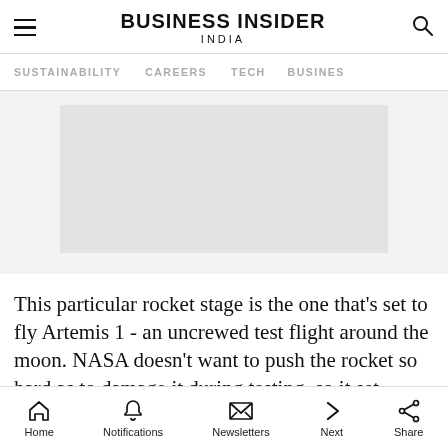BUSINESS INSIDER INDIA
SUSTAINABILITY   CAREERS   TECH   BUSINESS
[Figure (photo): Placeholder image area with light gray background, representing a partially loaded or blank image on the article page.]
This particular rocket stage is the one that's set to fly Artemis 1 - an uncrewed test flight around the moon. NASA doesn't want to push the rocket so hard as to damage it during testing, so it set
Home   Notifications   Newsletters   Next   Share